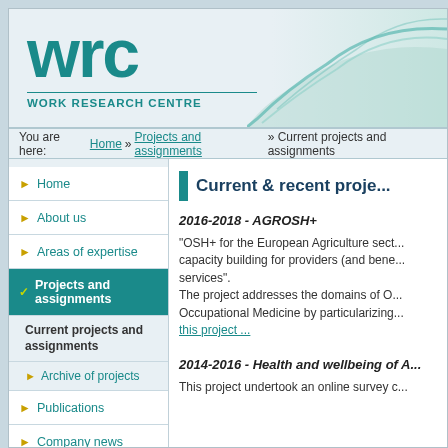[Figure (logo): WRC Work Research Centre logo with teal lettering and swoosh graphic]
You are here: Home » Projects and assignments » Current projects and assignments
Home
About us
Areas of expertise
Projects and assignments (active)
Current projects and assignments
Archive of projects
Publications
Company news
Current & recent proje...
2016-2018 - AGROSH+
"OSH+ for the European Agriculture sect... capacity building for providers (and bene... services". The project addresses the domains of O... Occupational Medicine by particularizing...
this project ...
2014-2016 - Health and wellbeing of A...
This project undertook an online survey c...